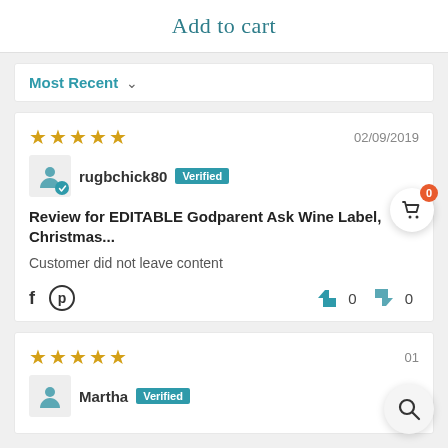Add to cart
Most Recent ∨
★★★★★   02/09/2019
rugbchick80 [Verified]
Review for EDITABLE Godparent Ask Wine Label, Christmas...
Customer did not leave content
👍 0  👎 0
★★★★★   01
Martha [Verified]